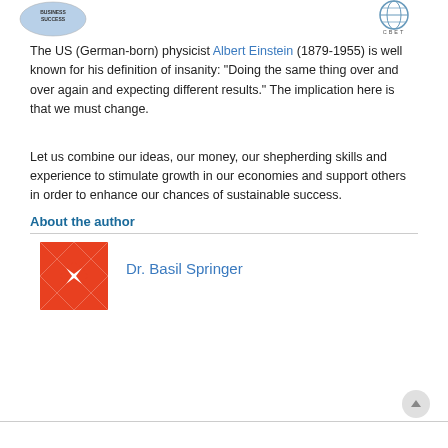[Figure (logo): Left header logo: circular badge with text 'BUSINESS SUCCESS']
[Figure (logo): Right header logo: globe/network icon with text 'CBET']
The US (German-born) physicist Albert Einstein (1879-1955) is well known for his definition of insanity: “Doing the same thing over and over again and expecting different results.” The implication here is that we must change.
Let us combine our ideas, our money, our shepherding skills and experience to stimulate growth in our economies and support others in order to enhance our chances of sustainable success.
About the author
[Figure (illustration): Red and white geometric quilt-pattern square illustration]
Dr. Basil Springer